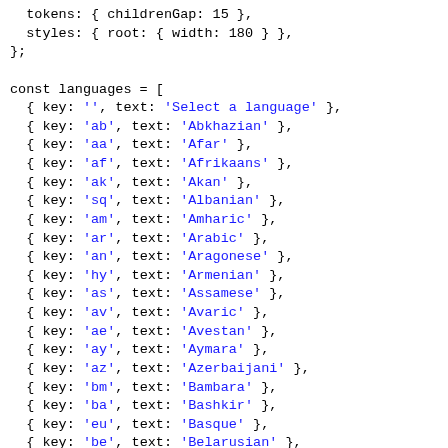tokens: { childrenGap: 15 },
  styles: { root: { width: 180 } },
};

const languages = [
  { key: '', text: 'Select a language' },
  { key: 'ab', text: 'Abkhazian' },
  { key: 'aa', text: 'Afar' },
  { key: 'af', text: 'Afrikaans' },
  { key: 'ak', text: 'Akan' },
  { key: 'sq', text: 'Albanian' },
  { key: 'am', text: 'Amharic' },
  { key: 'ar', text: 'Arabic' },
  { key: 'an', text: 'Aragonese' },
  { key: 'hy', text: 'Armenian' },
  { key: 'as', text: 'Assamese' },
  { key: 'av', text: 'Avaric' },
  { key: 'ae', text: 'Avestan' },
  { key: 'ay', text: 'Aymara' },
  { key: 'az', text: 'Azerbaijani' },
  { key: 'bm', text: 'Bambara' },
  { key: 'ba', text: 'Bashkir' },
  { key: 'eu', text: 'Basque' },
  { key: 'be', text: 'Belarusian' },
  { key: 'bn', text: 'Bengali' },
  { key: 'bh', text: 'Bihari languages' },
  { key: 'bi', text: 'Bislama' },
  { key: 'bs', text: 'Bosnian' }